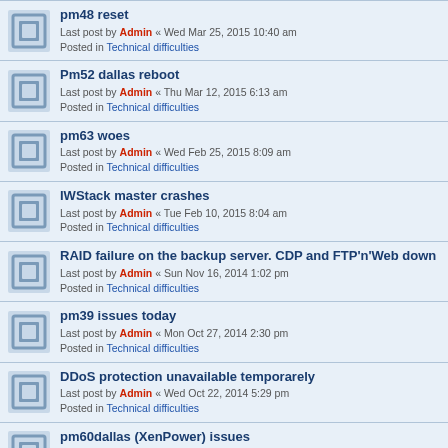pm48 reset
Last post by Admin « Wed Mar 25, 2015 10:40 am
Posted in Technical difficulties
Pm52 dallas reboot
Last post by Admin « Thu Mar 12, 2015 6:13 am
Posted in Technical difficulties
pm63 woes
Last post by Admin « Wed Feb 25, 2015 8:09 am
Posted in Technical difficulties
IWStack master crashes
Last post by Admin « Tue Feb 10, 2015 8:04 am
Posted in Technical difficulties
RAID failure on the backup server. CDP and FTP'n'Web down
Last post by Admin « Sun Nov 16, 2014 1:02 pm
Posted in Technical difficulties
pm39 issues today
Last post by Admin « Mon Oct 27, 2014 2:30 pm
Posted in Technical difficulties
DDoS protection unavailable temporarely
Last post by Admin « Wed Oct 22, 2014 5:29 pm
Posted in Technical difficulties
pm60dallas (XenPower) issues
Last post by Admin « Sat Aug 09, 2014 3:13 pm
Posted in Technical difficulties
New IWStack interface integrated in WHMCS
Last post by Admin « Mon Jun 30, 2014 5:10 am
Posted in iwstack: FAQ, HowTos, Knowledge base
Emergency reboot of all OpenVZ server
Last post by Admin « Wed Jan 05, 2014 10:00